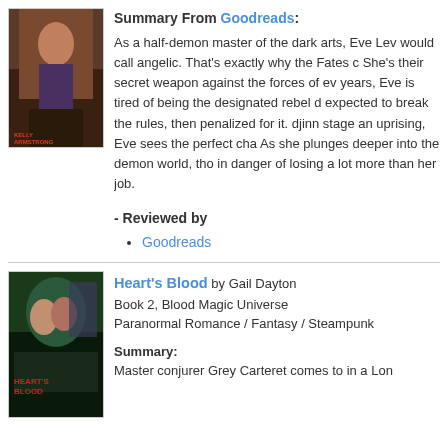[Figure (photo): Book cover showing a woman with weapons in a dark fantasy setting]
Summary From Goodreads: As a half-demon master of the dark arts, Eve Lev would call angelic. That's exactly why the Fates c She's their secret weapon against the forces of ev years, Eve is tired of being the designated rebel d expected to break the rules, then penalized for it. djinn stage an uprising, Eve sees the perfect cha As she plunges deeper into the demon world, tho in danger of losing a lot more than her job.
- Reviewed by
Goodreads
[Figure (photo): Book cover for Heart's Blood showing two figures in a steampunk fantasy setting with a cityscape]
Heart's Blood by Gail Dayton
Book 2, Blood Magic Universe
Paranormal Romance / Fantasy / Steampunk
Summary: Master conjurer Grey Carteret comes to in a Lon